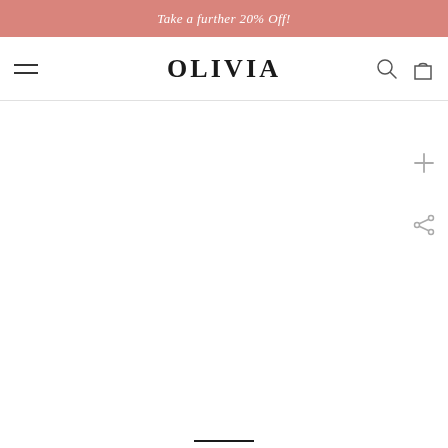Take a further 20% Off!
OLIVIA
[Figure (screenshot): E-commerce website header for OLIVIA brand showing promotional banner, navigation bar with hamburger menu, brand logo, search and bag icons, and a mostly blank product page area with plus and share icons on the right side.]